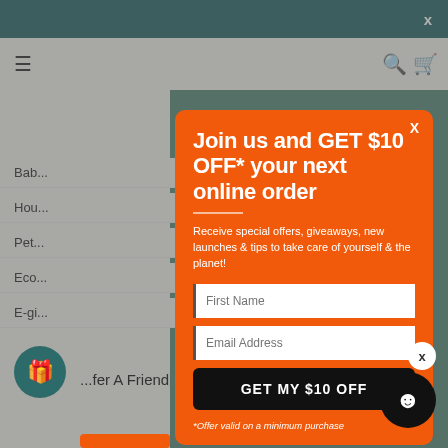X
[Figure (screenshot): Navigation bar with hamburger menu icon, search icon, and cart icon on a light background]
Dist...
Produc...
Bab...
Hou...
Pet...
Eco...
E-gi...
Join us and GET $10 OFF* your next online order
Receive special offers, giveaways, new launches & tips to take care of yourself & the planet!
First Name
Email Address
GET MY $10 OFF
*Offer valid on a minimum purchase
Refer A Friend